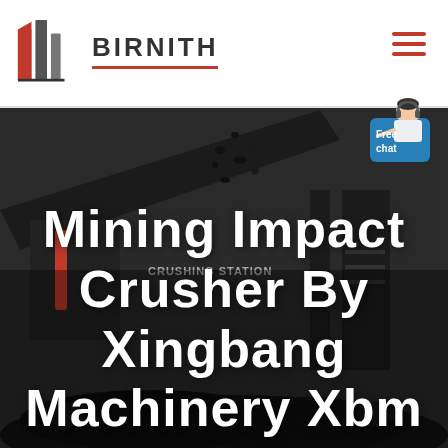BIRNITH
[Figure (photo): Industrial mining crushing station with large machinery and conveyor belts processing dark rock/coal material, shown in black and white]
Mining Impact Crusher By Xingbang Machinery Xbm